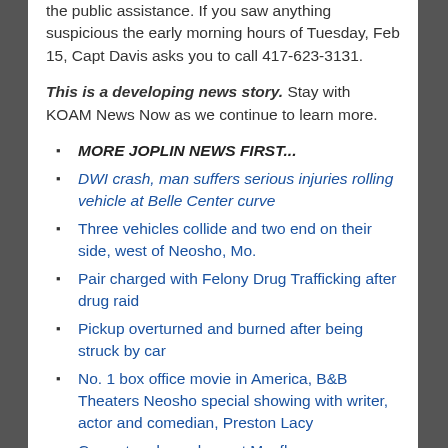the public assistance. If you saw anything suspicious the early morning hours of Tuesday, Feb 15, Capt Davis asks you to call 417-623-3131.
This is a developing news story. Stay with KOAM News Now as we continue to learn more.
MORE JOPLIN NEWS FIRST...
DWI crash, man suffers serious injuries rolling vehicle at Belle Center curve
Three vehicles collide and two end on their side, west of Neosho, Mo.
Pair charged with Felony Drug Trafficking after drug raid
Pickup overturned and burned after being struck by car
No. 1 box office movie in America, B&B Theaters Neosho special showing with writer, actor and comedian, Preston Lacy
Carport and cars burn at Mayflower Apartments in historic Murphysburg Neighborhood